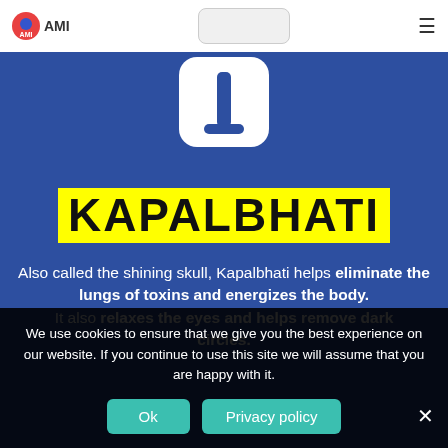AMI
[Figure (illustration): White rounded square app icon with a vertical white bar/line shape on blue background, partially visible at top]
KAPALBHATI
Also called the shining skull, Kapalbhati helps eliminate the lungs of toxins and energizes the body. It also relaxes the eyes and helps remove dark circles.
We use cookies to ensure that we give you the best experience on our website. If you continue to use this site we will assume that you are happy with it.